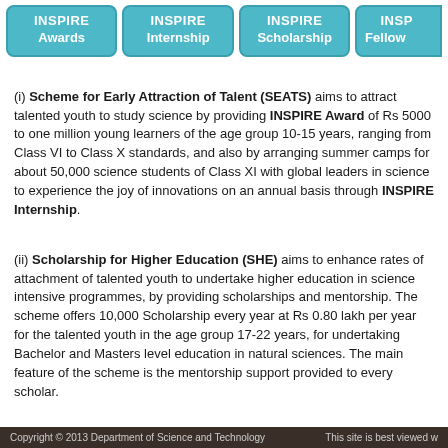[Figure (infographic): Four teal rounded button-style boxes labeled INSPIRE Awards, INSPIRE Internship, INSPIRE Scholarship, and INSPIRE Fellowship (partially visible)]
(i) Scheme for Early Attraction of Talent (SEATS) aims to attract talented youth to study science by providing INSPIRE Award of Rs 5000 to one million young learners of the age group 10-15 years, ranging from Class VI to Class X standards, and also by arranging summer camps for about 50,000 science students of Class XI with global leaders in science to experience the joy of innovations on an annual basis through INSPIRE Internship.
(ii) Scholarship for Higher Education (SHE) aims to enhance rates of attachment of talented youth to undertake higher education in science intensive programmes, by providing scholarships and mentorship. The scheme offers 10,000 Scholarship every year at Rs 0.80 lakh per year for the talented youth in the age group 17-22 years, for undertaking Bachelor and Masters level education in natural sciences. The main feature of the scheme is the mentorship support provided to every scholar.
(iii) Assured Opportunity for Research Careers (AORC) aims to attract, attach, retain and nourish talented young scientific Human Resource for strengthening the R&D foundation and base. It has two sub-components. In the first component i.e. INSPIRE Fellowship (age group of 22-27 years), it offers 1000 fellowships every year, for carrying out doctoral degree in both basic and applied sciences including engineering and medicine. In the second component i.e. INSPIRE Faculty Scheme, it offers assured opportunity every year for 1000 post- doctoral researchers in the age group of 27-32 years, through contractual
Copyright © 2013 Department of Science and Technology    This site is best viewed w